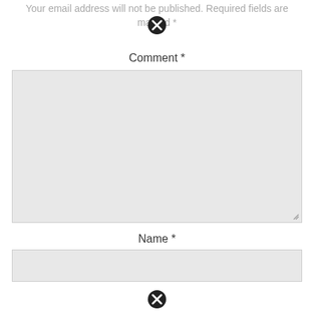Your email address will not be published. Required fields are marked *
[Figure (illustration): Close/cancel icon (black circle with X) overlaid near top text]
Comment *
[Figure (screenshot): Large grey comment textarea with resize handle at bottom right]
Name *
[Figure (screenshot): Grey name input field]
[Figure (illustration): Close/cancel icon (black circle with X) at bottom center]